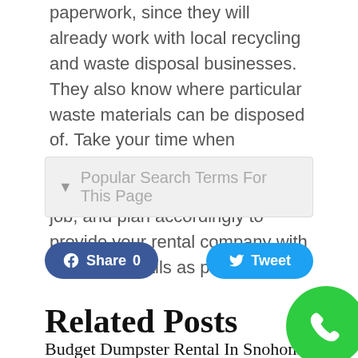paperwork, since they will already work with local recycling and waste disposal businesses. They also know where particular waste materials can be disposed of. Take your time when browsing dumpster rentals to choose the perfect one for your job, and plan accordingly to provide your rental company with as many details as possible.
Popular Search Terms For This Page
Share 0
Tweet
Related Posts
Budget Dumpster Rental In Snohomis...